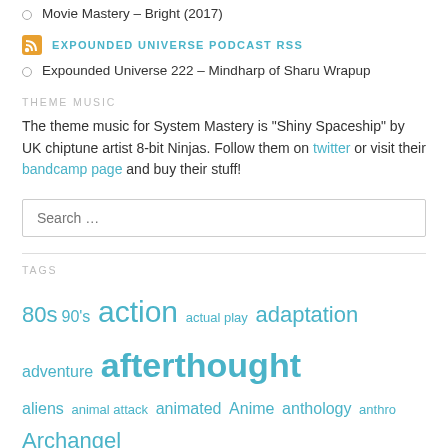Movie Mastery – Bright (2017)
EXPOUNDED UNIVERSE PODCAST RSS
Expounded Universe 222 – Mindharp of Sharu Wrapup
THEME MUSIC
The theme music for System Mastery is "Shiny Spaceship" by UK chiptune artist 8-bit Ninjas. Follow them on twitter or visit their bandcamp page and buy their stuff!
Search …
TAGS
80s 90's action actual play adaptation adventure afterthought aliens animal attack animated Anime anthology anthro Archangel Banshee Bon Ron Slawalker b movie body horror Book Review